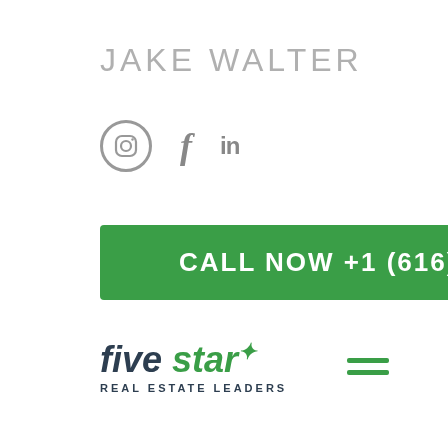JAKE WALTER
[Figure (infographic): Social media icons: Instagram (circle with camera), Facebook (f), LinkedIn (in)]
CALL NOW +1 (616) 889 4334
[Figure (logo): Five Star Real Estate Leaders logo with hamburger menu icon]
living space in this 3 bed/3 bath home. Finished walkout basement is a game room/additional living room! Home has its own cement access for rolling boats and other toys into the water. Home includes whole home generator and roll out pier! Only a short 4 miles to all-sport Corey Lake - best of both worlds! 2.5 car garage. Possible property for an investor. Seller is willing to leave two row boats, pool table,